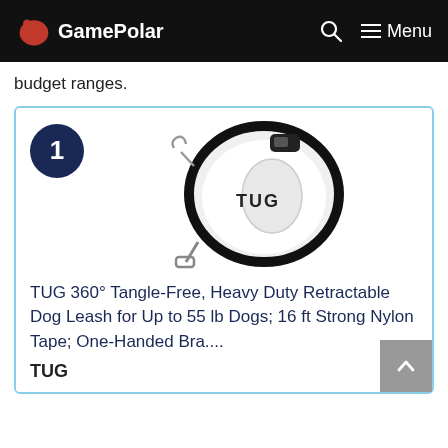GamePolar — Menu
budget ranges.
[Figure (photo): TUG retractable dog leash product photo — white and black oval-shaped leash handle with 'TUG' branding. A dark navy circle with number '1' appears in the top left of the card.]
TUG 360° Tangle-Free, Heavy Duty Retractable Dog Leash for Up to 55 lb Dogs; 16 ft Strong Nylon Tape; One-Handed Bra....
TUG